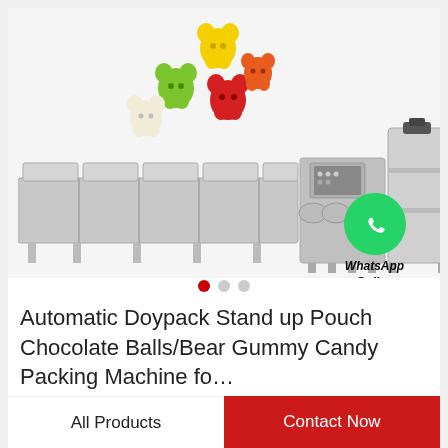[Figure (photo): Product image showing colorful gummy bear candies (yellow, green, red, white) above an industrial candy packing machine (stainless steel automatic doypack line) with a WhatsApp Online badge in the corner. Three navigation dots below the image (first dot active/red).]
Automatic Doypack Stand up Pouch Chocolate Balls/Bear Gummy Candy Packing Machine fo…
All Products
Contact Now